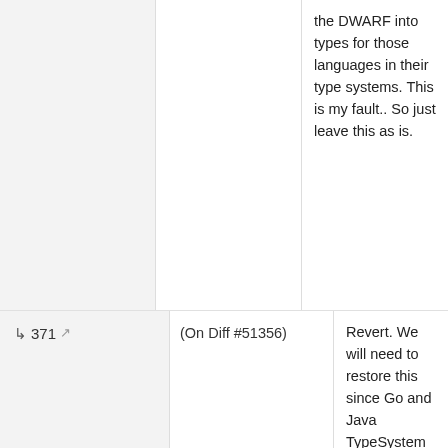the DWARF into types for those languages in their type systems. This is my fault.. So just leave this as is.
371
(On Diff #51356)
Revert. We will need to restore this since Go and Java TypeSystem subclasses need to provide DWARF parsers that translate the DWARF into types for those languages in their type systems. This is my fault.. So just leave this as is.